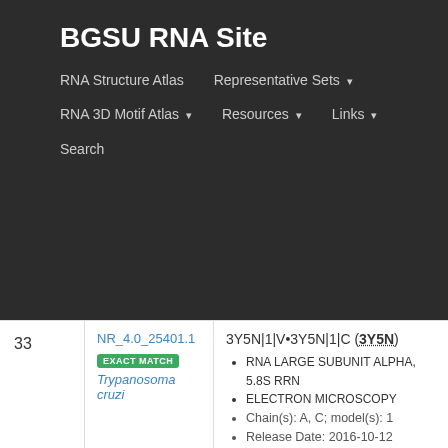BGSU RNA Site
RNA Structure Atlas | Representative Sets ▾ | RNA 3D Motif Atlas ▾ | Resources ▾ | Links ▾ | Search
| # | ID / Match / Species | PDB / Details |
| --- | --- | --- |
| 33 | NR_4.0_25401.1 | EXACT MATCH | Trypanosoma cruzi | 3Y5N|1|V•3Y5N|1|C (3Y5N) • RNA LARGE SUBUNIT ALPHA, 5.8S rRN... • ELECTRON MICROSCOPY • Chain(s): A, C; model(s): 1 • Release Date: 2016-10-12 |
| 34 | NR_4.0_15716.1 | EXACT MATCH | Dictyostelium discoideum | 5AN9|1|N (5AN9) • 26S RIBOSOMAL RNA • ELECTRON MICROSCOPY • Chain(s): N; model(s): 1 • Release Date: 2015-10-21 |
| 35 | NR_4.0_81791.1 | EXACT MATCH | Leishmania donovani | 3JCS|1|2 (3JCS) • 26S delta ribosomal RNA • ELECTRON MICROSCOPY • Chain(s): 2; model(s): 1 |